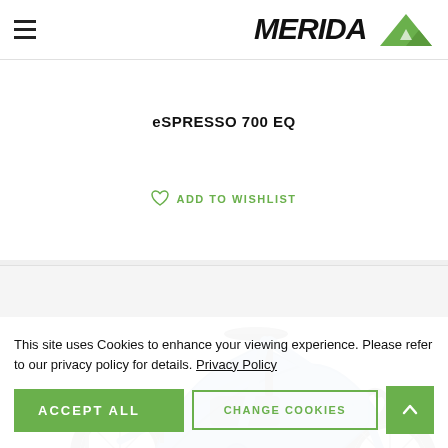Merida Bikes - eSPRESSO 700 EQ product page header
eSPRESSO 700 EQ
ADD TO WISHLIST
[Figure (photo): Blue Merida eSPRESSO 700 EQ electric bicycle, partial side view showing frame, seat, handlebars, rack and rear wheel]
This site uses Cookies to enhance your viewing experience. Please refer to our privacy policy for details. Privacy Policy
ACCEPT ALL
CHANGE COOKIES